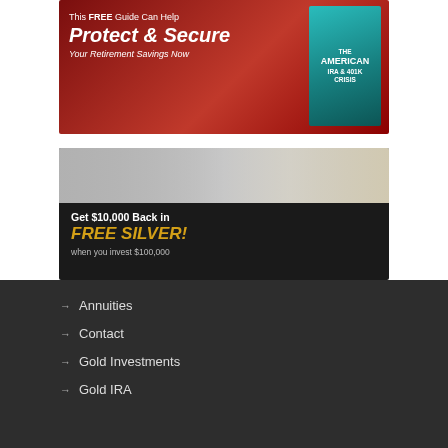[Figure (illustration): Advertisement banner: red background with fire imagery, text reads 'This FREE Guide Can Help Protect & Secure Your Retirement Savings Now' with a book cover showing 'The American IRA & 401k Crisis']
[Figure (illustration): Advertisement banner: coins and gold on dark background, text reads 'Get $10,000 Back in FREE SILVER! when you invest $100,000']
Annuities
Contact
Gold Investments
Gold IRA